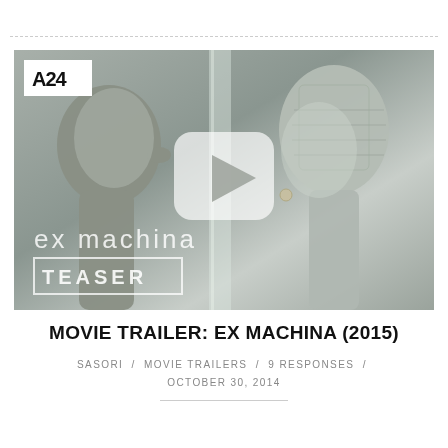[Figure (screenshot): Movie trailer thumbnail for Ex Machina (2015) showing two face-to-face figures — a human profile on the left and a robotic AI figure on the right with mechanical head details. A YouTube-style play button is overlaid in the center. The A24 logo appears in the top-left corner. Text overlay reads 'ex machina TEASER'.]
MOVIE TRAILER: EX MACHINA (2015)
SASORI  /  MOVIE TRAILERS  /  9 RESPONSES  /  OCTOBER 30, 2014